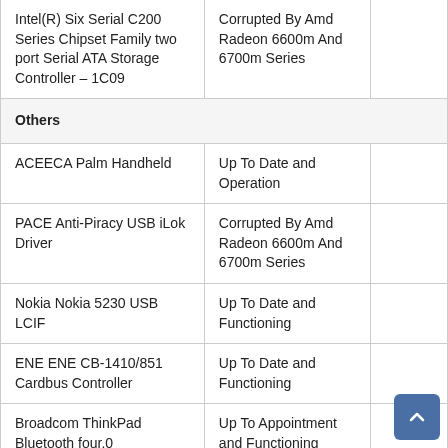| Device | Status |  |
| --- | --- | --- |
| Intel(R) Six Serial C200 Series Chipset Family two port Serial ATA Storage Controller – 1C09 | Corrupted By Amd Radeon 6600m And 6700m Series |  |
| Others |  |  |
| ACEECA Palm Handheld | Up To Date and Operation |  |
| PACE Anti-Piracy USB iLok Driver | Corrupted By Amd Radeon 6600m And 6700m Series |  |
| Nokia Nokia 5230 USB LCIF | Up To Date and Functioning |  |
| ENE ENE CB-1410/851 Cardbus Controller | Up To Date and Functioning |  |
| Broadcom ThinkPad Bluetooth four.0 | Up To Appointment and Functioning |  |